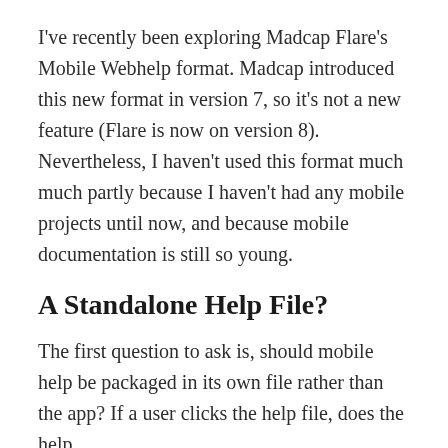I've recently been exploring Madcap Flare's Mobile Webhelp format. Madcap introduced this new format in version 7, so it's not a new feature (Flare is now on version 8). Nevertheless, I haven't used this format much much partly because I haven't had any mobile projects until now, and because mobile documentation is still so young.
A Standalone Help File?
The first question to ask is, should mobile help be packaged in its own file rather than the app? If a user clicks the help file, does the help